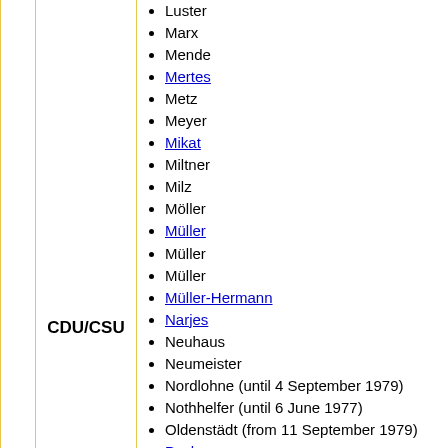Luster
Marx
Mende
Mertes
Metz
Meyer
Mikat
Miltner
Milz
Möller
Müller
Müller
Müller
Müller-Hermann
Narjes
Neuhaus
Neumeister
Nordlohne (until 4 September 1979)
Nothhelfer (until 6 June 1977)
Oldenstädt (from 11 September 1979)
Pack
Petersen
Pfeffermann
Pfeifer
Pfennig (from 24 February 1977)